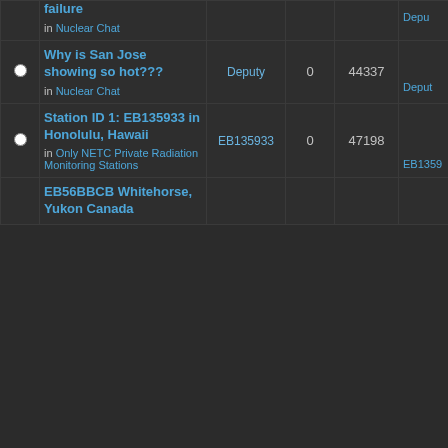|  | Topic | Author | Replies | Views | Last Post |
| --- | --- | --- | --- | --- | --- |
|  | failure
in Nuclear Chat |  |  |  | Deput |
| ○ | Why is San Jose showing so hot???
in Nuclear Chat | Deputy | 0 | 44337 | Mon Oc 2013 9:4
Deput |
| ○ | Station ID 1: EB135933 in Honolulu, Hawaii
in Only NETC Private Radiation Monitoring Stations | EB135933 | 0 | 47198 | Tue Ja 2014 1 pm
EB1359 |
|  | EB56BBCB Whitehorse, Yukon Canada |  |  |  | Fri Feb |